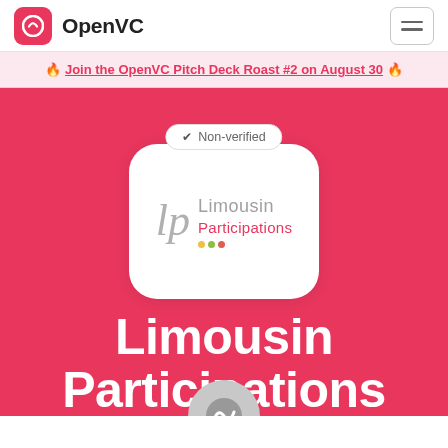OpenVC
🔥 Join the OpenVC Pitch Deck Roast #2 on August 30 🔥
[Figure (logo): Limousin Participations company logo — stylized 'lp' lettermark in gray with colored dots and text 'Limousin Participations' on white rounded card with Non-verified badge on pink background]
Limousin Participations